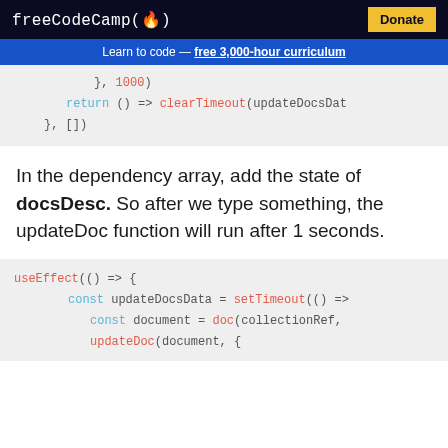freeCodeCamp(🔥)  Donate
Learn to code — free 3,000-hour curriculum
[Figure (screenshot): Code snippet showing closing of setTimeout with 1000ms delay, return clearTimeout(updateDocsDat, and closing }, [])]
In the dependency array, add the state of docsDesc. So after we type something, the updateDoc function will run after 1 seconds.
[Figure (screenshot): Code snippet showing useEffect(() => { const updateDocsData = setTimeout(() => { const document = doc(collectionRef, updateDoc(document, {]